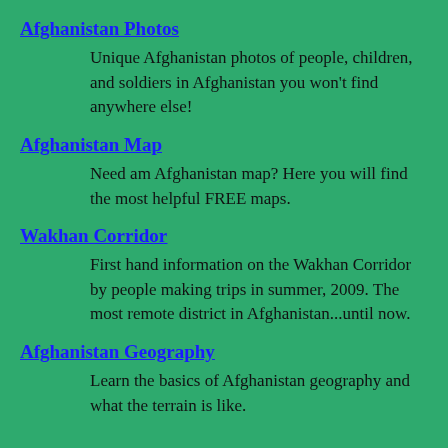Afghanistan Photos
Unique Afghanistan photos of people, children, and soldiers in Afghanistan you won't find anywhere else!
Afghanistan Map
Need am Afghanistan map? Here you will find the most helpful FREE maps.
Wakhan Corridor
First hand information on the Wakhan Corridor by people making trips in summer, 2009. The most remote district in Afghanistan...until now.
Afghanistan Geography
Learn the basics of Afghanistan geography and what the terrain is like.